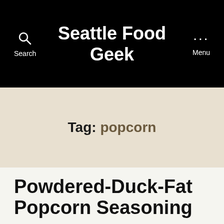Seattle Food Geek
Tag: popcorn
Powdered-Duck-Fat Popcorn Seasoning